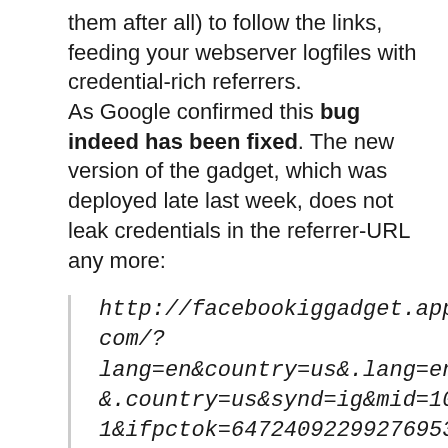them after all) to follow the links, feeding your webserver logfiles with credential-rich referrers. As Google confirmed this bug indeed has been fixed. The new version of the gadget, which was deployed late last week, does not leak credentials in the referrer-URL any more:
http://facebookiggadget.appspot.com/?lang=en&country=us&.lang=en&.country=us&synd=ig&mid=101&ifpctok=64724092299276953 77&exp_rpc_js=1&exp_track_js=1&exp_ids=17250&parent=http:/